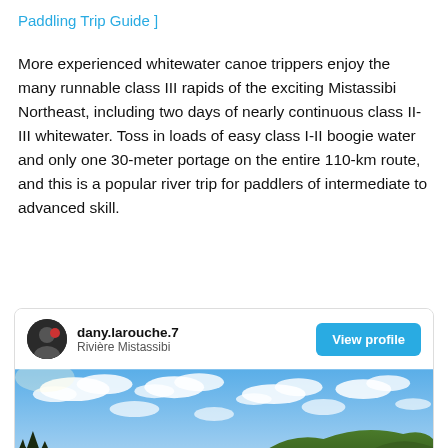Paddling Trip Guide ]
More experienced whitewater canoe trippers enjoy the many runnable class III rapids of the exciting Mistassibi Northeast, including two days of nearly continuous class II-III whitewater. Toss in loads of easy class I-II boogie water and only one 30-meter portage on the entire 110-km route, and this is a popular river trip for paddlers of intermediate to advanced skill.
[Figure (screenshot): Social media profile card for dany.larouche.7 showing Rivière Mistassibi with a View profile button and a landscape photo of sky with clouds and forested hills]
dany.larouche.7 | Rivière Mistassibi